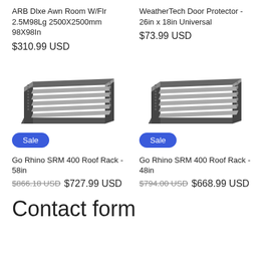ARB Dlxe Awn Room W/Flr 2.5M98Lg 2500X2500mm 98X98In
$310.99 USD
WeatherTech Door Protector - 26in x 18in Universal
$73.99 USD
[Figure (photo): Go Rhino SRM 400 Roof Rack product image, gray metal roof rack basket, left item]
Sale
Go Rhino SRM 400 Roof Rack - 58in
$866.18 USD  $727.99 USD
[Figure (photo): Go Rhino SRM 400 Roof Rack product image, gray metal roof rack basket, right item]
Sale
Go Rhino SRM 400 Roof Rack - 48in
$794.00 USD  $668.99 USD
Contact form